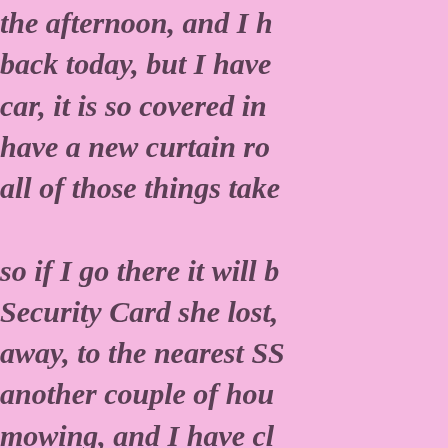the afternoon, and I ha back today, but I have car, it is so covered in have a new curtain ro all of those things take so if I go there it will b Security Card she lost, away, to the nearest SS another couple of hou mowing, and I have cl get busy on painting a outside of my own hou herself, even her and them, it was over a fu can do it ALL myself, can do it ALL myself,